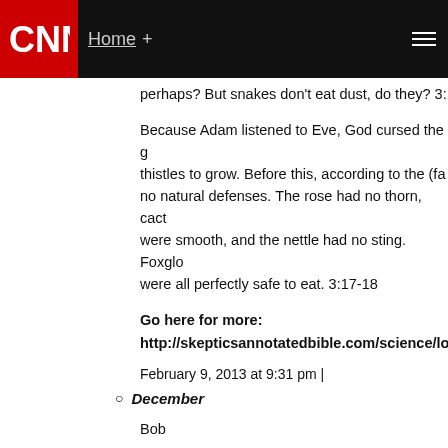CNN Home +
perhaps? But snakes don't eat dust, do they? 3:1
Because Adam listened to Eve, God cursed the g thistles to grow. Before this, according to the (fal no natural defenses. The rose had no thorn, cact were smooth, and the nettle had no sting. Foxglo were all perfectly safe to eat. 3:17-18
Go here for more:
http://skepticsannotatedbible.com/science/lo
February 9, 2013 at 9:31 pm |
December
Bob
I've seen websites that scientifically discredit the
I've seen websites that scientifically support the
And I can copy and paste a huge list